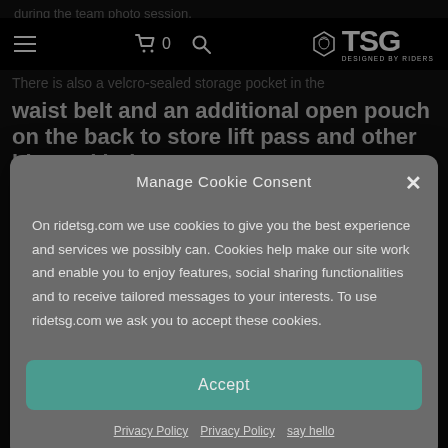during the team photo session.
[Figure (screenshot): Navigation bar with hamburger menu, cart icon showing 0, search icon, and TSG logo with 'Designed by Riders' tagline on black background]
There is also a velcro-sealed storage pocket in the waist belt and an additional open pouch on the back to store lift pass and other bits and bobs
Manage Cookie Consent
On ridetsg.com we use cookies to give you the best experience and services we possibly can. Cookies help make our site work and enable you to enjoy features, social sharing functionalities and to receive tailored messages to your interests. To use ridetsg.com we ask you to accept these cookies.
Accept
Privacy Policy  Privacy Policy  say hello